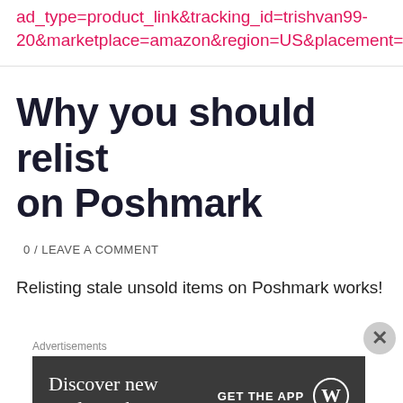ad_type=product_link&tracking_id=trishvan99-20&marketplace=amazon&region=US&placement=B071NV5748&asins=B071NV5748&linkId=1ea6567dcf900e211de3bf7c77967bb4&show_border=false&link_opens_in_new_window=false&price_color=333333&title_color=0066c0&bg_color=ffffff
Why you should relist on Poshmark
0 / LEAVE A COMMENT
Relisting stale unsold items on Poshmark works!
[Figure (screenshot): Advertisement banner: dark grey background with text 'Discover new reads on the go.' and 'GET THE APP' with WordPress logo]